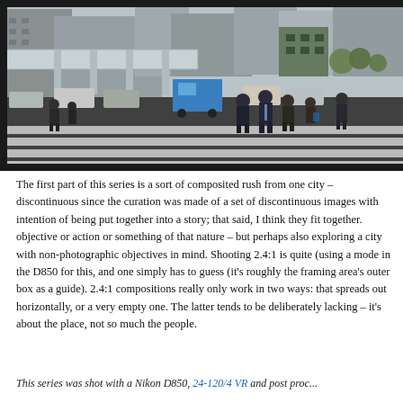[Figure (photo): Street photography scene of a busy urban intersection in Japan (likely Tokyo). Business people in suits crossing a zebra crossing in the foreground. City buildings, elevated structures, and a blue truck visible in the background. Black and white striped crosswalk markings prominent.]
The first part of this series is a sort of composited rush from one city – discontinuous since the curation was made of a set of discontinuous images with intention of being put together into a story; that said, I think they fit together. objective or action or something of that nature – but perhaps also exploring a city with non-photographic objectives in mind. Shooting 2.4:1 is quite (using a mode in the D850 for this, and one simply has to guess (it's roughly the framing area's outer box as a guide). 2.4:1 compositions really only work in two ways: that spreads out horizontally, or a very empty one. The latter tends to be deliberately lacking – it's about the place, not so much the people.
This series was shot with a Nikon D850, 24-120/4 VR and post processed...